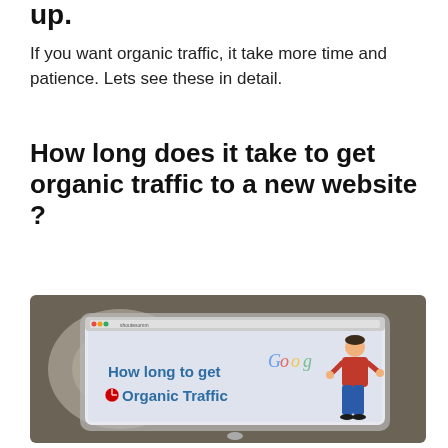up.
If you want organic traffic, it take more time and patience. Lets see these in detail.
How long does it take to get organic traffic to a new website ?
[Figure (illustration): Tablet device screen showing an infographic with text 'How long to get Organic Traffic' with a clock emoji, a cartoon man in red shirt and jeans, Google logo partially visible, and a coffee cup in the background.]